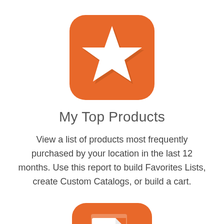[Figure (logo): Orange rounded square icon with a white star in the center, with a subtle shadow effect on the lower-right of the star]
My Top Products
View a list of products most frequently purchased by your location in the last 12 months. Use this report to build Favorites Lists, create Custom Catalogs, or build a cart.
[Figure (logo): Orange rounded square icon with a white document/report icon showing lines of text]